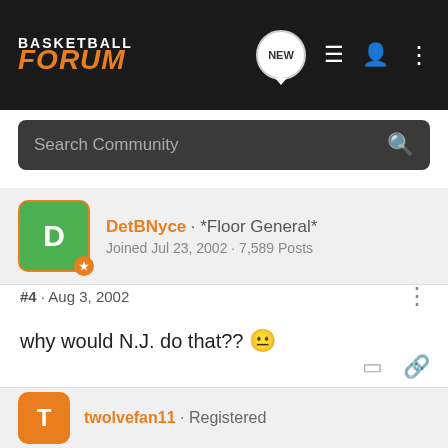BASKETBALL FORUM
Search Community
DetBNyce · *Floor General* Joined Jul 23, 2002 · 7,589 Posts
#4 · Aug 3, 2002
why would N.J. do that?? 😐
twolvefan11 · Registered